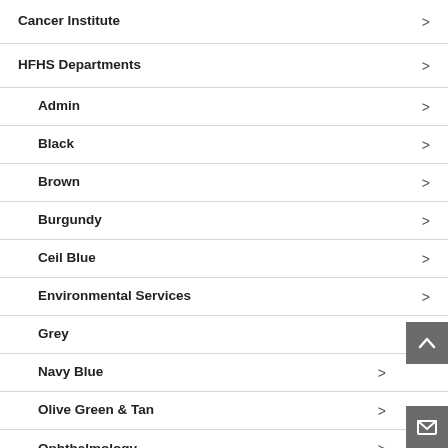Cancer Institute
HFHS Departments
Admin
Black
Brown
Burgundy
Ceil Blue
Environmental Services
Grey
Navy Blue
Olive Green & Tan
Ophthalmology